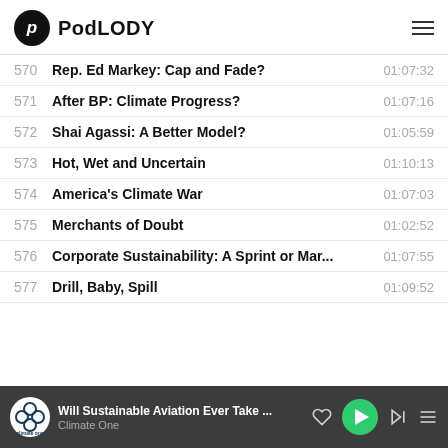PodLODY
570  Rep. Ed Markey: Cap and Fade?  01:07:32
571  After BP: Climate Progress?  01:07:16
572  Shai Agassi: A Better Model?  01:05:59
573  Hot, Wet and Uncertain  01:10:13
574  America's Climate War  01:07:03
575  Merchants of Doubt  01:02:52
576  Corporate Sustainability: A Sprint or Mar...  01:07:55
577  Drill, Baby, Spill  01:09:52
Will Sustainable Aviation Ever Take ... Climate One